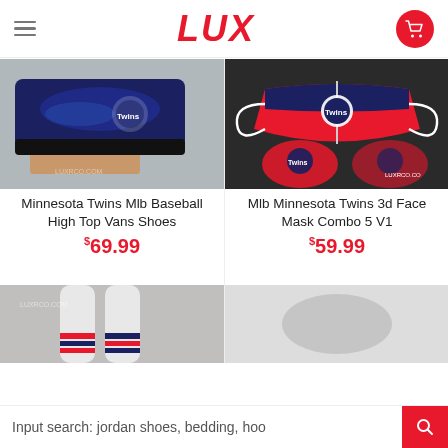LUX
[Figure (photo): Minnesota Twins MLB Baseball High Top Vans Shoes product image]
[Figure (photo): Mlb Minnesota Twins 3d Face Mask Combo 5 V1 product image]
Minnesota Twins Mlb Baseball High Top Vans Shoes
$69.99
Mlb Minnesota Twins 3d Face Mask Combo 5 V1
$59.99
[Figure (photo): Minnesota Twins socks product image]
[Figure (photo): Another Minnesota Twins product image]
Input search: jordan shoes, bedding, hoo